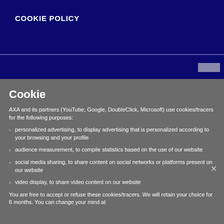COOKIE POLICY
Cookie
AXA and its partners (YouTube, Google, DoubleClick, Microsoft) use cookies/tracers for the following purposes:
personalized advertising, to display advertising that is personalized according to your browsing and your profile
audience measurement, to compile statistics based on the use of our website
social media sharing, to share content on social networks or platforms present on our website
video display, to share video content on our website
You are free to accept or refuse these cookies/tracers. We will retain your choice for 6 months. You can change your mind at